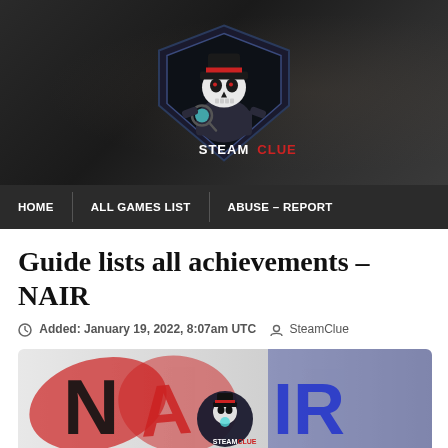[Figure (logo): SteamClue website header banner with dark background and SteamClue detective skull logo in the center]
HOME | ALL GAMES LIST | ABUSE – REPORT
Guide lists all achievements – NAIR
Added: January 19, 2022, 8:07am UTC  SteamClue
[Figure (screenshot): NAIR game title image with SteamClue logo overlay, showing stylized letters N, A, I, R in black and blue with red brush strokes]